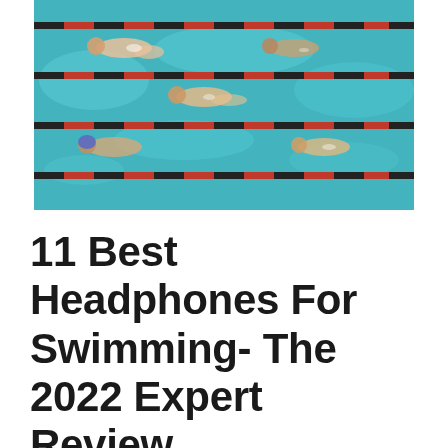[Figure (photo): Aerial view of swimmers in a pool with red and black lane dividers, multiple swimmers visible doing freestyle stroke in blue water]
11 Best Headphones For Swimming- The 2022 Expert Review